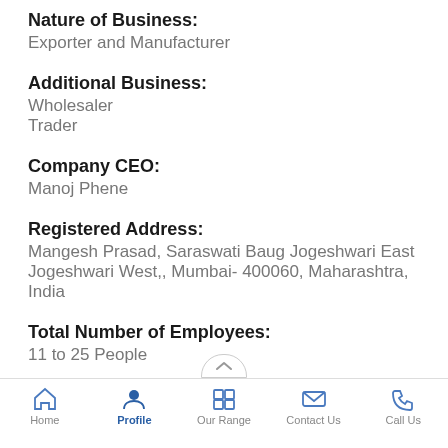Nature of Business: Exporter and Manufacturer
Additional Business: Wholesaler Trader
Company CEO: Manoj Phene
Registered Address: Mangesh Prasad, Saraswati Baug Jogeshwari East Jogeshwari West,, Mumbai- 400060, Maharashtra, India
Total Number of Employees: 11 to 25 People
Year of Establishment:
Home | Profile | Our Range | Contact Us | Call Us